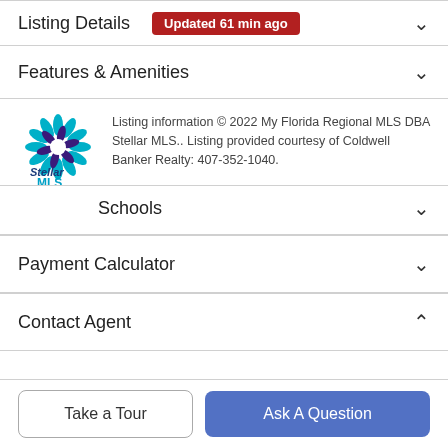Listing Details Updated 61 min ago
Features & Amenities
Listing information © 2022 My Florida Regional MLS DBA Stellar MLS.. Listing provided courtesy of Coldwell Banker Realty: 407-352-1040.
Schools
Payment Calculator
Contact Agent
Take a Tour
Ask A Question